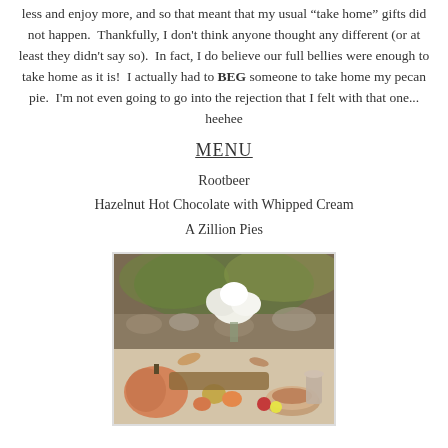less and enjoy more, and so that meant that my usual "take home" gifts did not happen. Thankfully, I don't think anyone thought any different (or at least they didn't say so). In fact, I do believe our full bellies were enough to take home as it is! I actually had to BEG someone to take home my pecan pie. I'm not even going to go into the rejection that I felt with that one... heehee
MENU
Rootbeer
Hazelnut Hot Chocolate with Whipped Cream
A Zillion Pies
[Figure (photo): Autumn outdoor table display with pumpkins, pies, white hydrangea flower arrangement, gourds, fruits, and harvest decorations]